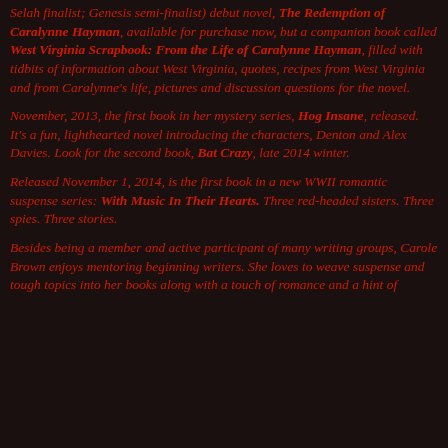Selah finalist; Genesis semi-finalist) debut novel, The Redemption of Caralynne Hayman, available for purchase now, but a companion book called West Virginia Scrapbook: From the Life of Caralynne Hayman, filled with tidbits of information about West Virginia, quotes, recipes from West Virginia and from Caralynne's life, pictures and discussion questions for the novel.
November, 2013, the first book in her mystery series, Hog Insane, released. It's a fun, lighthearted novel introducing the characters, Denton and Alex Davies. Look for the second book, Bat Crazy, late 2014 winter.
Released November 1, 2014, is the first book in a new WWII romantic suspense series: With Music In Their Hearts. Three red-headed sisters. Three spies. Three stories.
Besides being a member and active participant of many writing groups, Carole Brown enjoys mentoring beginning writers. She loves to weave suspense and tough topics into her books along with a touch of romance and a hint of humor.